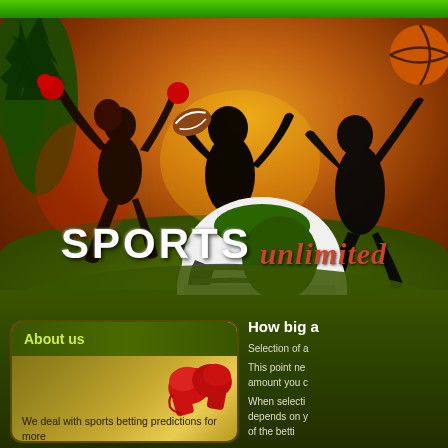[Figure (illustration): Sports betting website banner with silhouettes of athletes (cheerleaders, football player catching ball, basketball player), a white and green football helmet in the center, orange/brown gradient background with green ground, basketball in top right corner, green bar at top]
SPORTS unlimited
About us
We deal with sports betting predictions for more than 20 years. Now we would like to share our
How big a
Selection of a
This point ne amount you c
When selecti depends on y of the betti